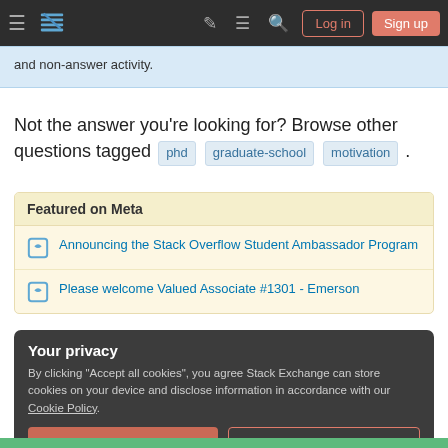Stack Exchange navigation bar with Log in and Sign up buttons
and non-answer activity.
Not the answer you're looking for? Browse other questions tagged phd graduate-school motivation .
Featured on Meta
Announcing the Stack Overflow Student Ambassador Program
Please welcome Valued Associate #1301 - Emerson
Your privacy
By clicking "Accept all cookies", you agree Stack Exchange can store cookies on your device and disclose information in accordance with our Cookie Policy.
Accept all cookies  Customize settings